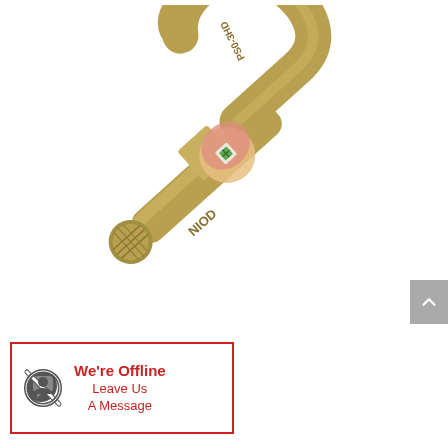[Figure (photo): A gold/brass-colored tube cutter tool (pipe cutter) lying at an angle. The tool body is marked with 'NIOD' and 'PS0-3HD'. It features a C-shaped frame, a cutting wheel mechanism in the center with a small green detail, a knurled adjustment knob on the left end, and a hook/jaw opening on the upper right. A finger is partially visible touching the cutting wheel area.]
We're Offline
Leave Us
A Message